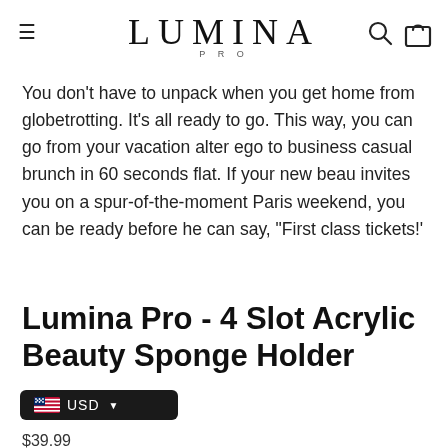LUMINA PRO
You don't have to unpack when you get home from globetrotting. It's all ready to go. This way, you can go from your vacation alter ego to business casual brunch in 60 seconds flat. If your new beau invites you on a spur-of-the-moment Paris weekend, you can be ready before he can say, "First class tickets!'
Lumina Pro - 4 Slot Acrylic Beauty Sponge Holder
USD
$39.99